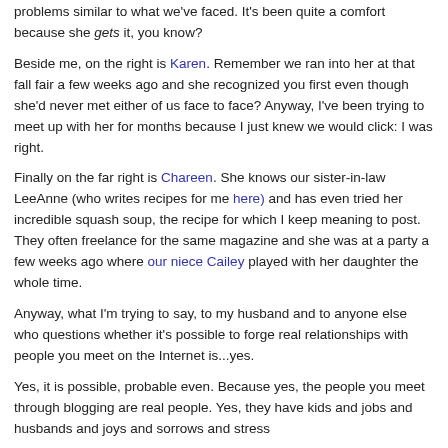problems similar to what we've faced. It's been quite a comfort because she gets it, you know?
Beside me, on the right is Karen. Remember we ran into her at that fall fair a few weeks ago and she recognized you first even though she'd never met either of us face to face? Anyway, I've been trying to meet up with her for months because I just knew we would click: I was right.
Finally on the far right is Chareen. She knows our sister-in-law LeeAnne (who writes recipes for me here) and has even tried her incredible squash soup, the recipe for which I keep meaning to post. They often freelance for the same magazine and she was at a party a few weeks ago where our niece Cailey played with her daughter the whole time.
Anyway, what I'm trying to say, to my husband and to anyone else who questions whether it's possible to forge real relationships with people you meet on the Internet is...yes.
Yes, it is possible, probable even. Because yes, the people you meet through blogging are real people. Yes, they have kids and jobs and husbands and joys and sorrows and stress